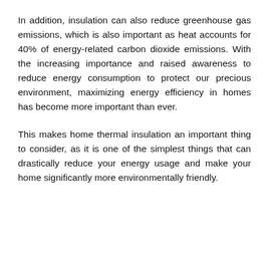In addition, insulation can also reduce greenhouse gas emissions, which is also important as heat accounts for 40% of energy-related carbon dioxide emissions. With the increasing importance and raised awareness to reduce energy consumption to protect our precious environment, maximizing energy efficiency in homes has become more important than ever.
This makes home thermal insulation an important thing to consider, as it is one of the simplest things that can drastically reduce your energy usage and make your home significantly more environmentally friendly.